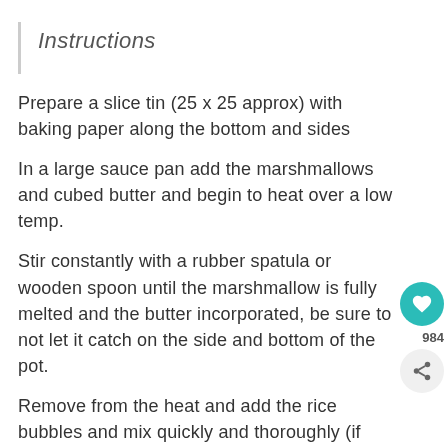Instructions
Prepare a slice tin (25 x 25 approx) with baking paper along the bottom and sides
In a large sauce pan add the marshmallows and cubed butter and begin to heat over a low temp.
Stir constantly with a rubber spatula or wooden spoon until the marshmallow is fully melted and the butter incorporated, be sure to not let it catch on the side and bottom of the pot.
Remove from the heat and add the rice bubbles and mix quickly and thoroughly (if adding choc bits etc add them now).
Pour into the prepared slice tin and press down with a large wooden spoon